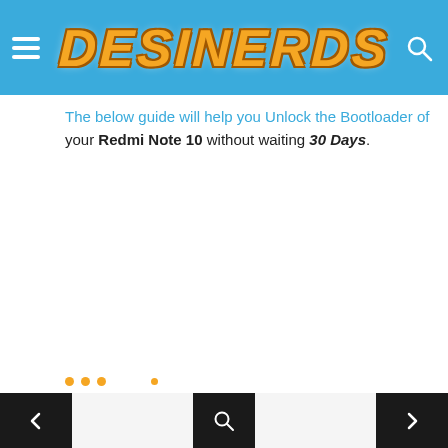DESINERDS
The below guide will help you Unlock the Bootloader of your Redmi Note 10 without waiting 30 Days.
Navigation: previous, search, next